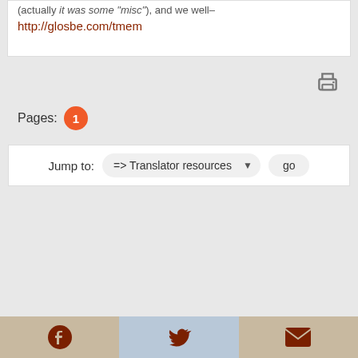http://glosbe.com/tmem
Pages: 1
Jump to: => Translator resources  go
Facebook | Twitter | Email icons